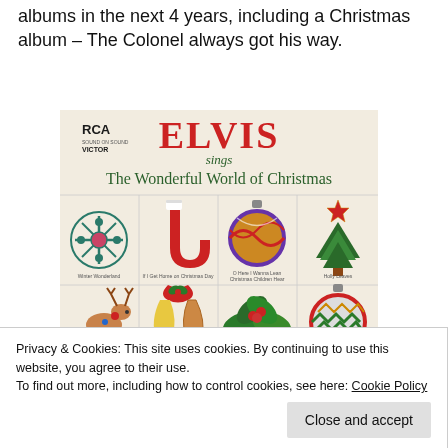albums in the next 4 years, including a Christmas album – The Colonel always got his way.
[Figure (photo): Album cover of 'Elvis Sings The Wonderful World of Christmas' on RCA Victor label, showing a grid of 8 Christmas illustrations: snowflake, stocking, ornament ball, Christmas tree, reindeer, bells, holly, another ornament ball, plus partial row at bottom.]
Privacy & Cookies: This site uses cookies. By continuing to use this website, you agree to their use.
To find out more, including how to control cookies, see here: Cookie Policy
Close and accept